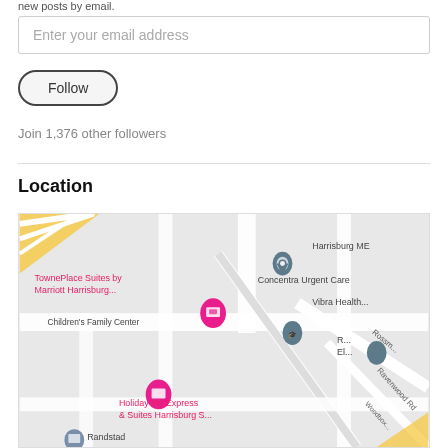new posts by email.
Enter your email address
Follow
Join 1,376 other followers
Location
[Figure (map): Google Maps screenshot showing area near Harrisburg with markers for TownePlace Suites by Marriott Harrisburg, Concentra Urgent Care, Harrisburg ME, Vibra Health, Children's Family Center, Holiday Inn Express & Suites Harrisburg S..., Randstad, and other locations along Ravenwood Rd and Rossm... road.]